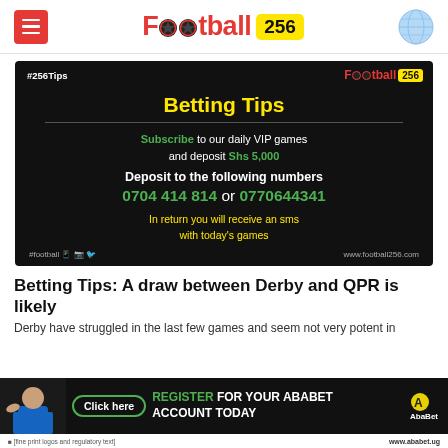Football 256 — website header with menu icon and globe icon
[Figure (infographic): Football 256 Betting Tips promotional banner on dark background. Shows '#256Tips' tag and Football 256 logo top right. Title: 'Betting Tips'. Text: 'Subscribe to our daily VIP games and deposit Shs 5,000'. 'Deposit to the following numbers 0704 414 814 or 0770644341'. 'In return you will receive an sms with today's games'.]
Betting Tips: A draw between Derby and QPR is likely
Derby have struggled in the last few games and seem not very potent in
[Figure (infographic): AbaBet advertisement banner. Shows a woman, 'Click here' button, 'REGISTER FOR YOUR ABABET ACCOUNT TODAY' text, AbaBet logo, and 'www.ababet.ug' website.]